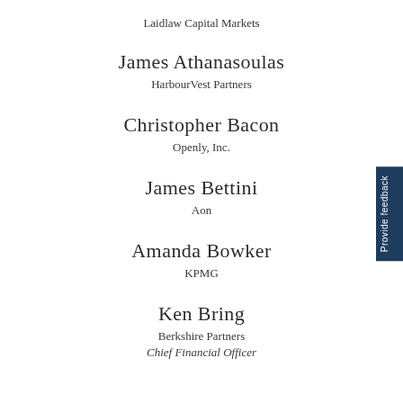Laidlaw Capital Markets
James Athanasoulas
HarbourVest Partners
Christopher Bacon
Openly, Inc.
James Bettini
Aon
Amanda Bowker
KPMG
Ken Bring
Berkshire Partners
Chief Financial Officer